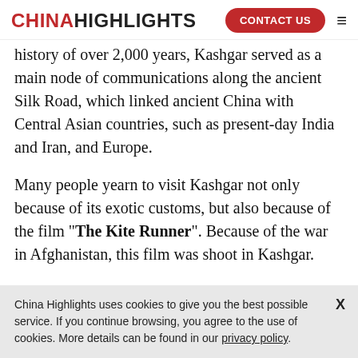CHINA HIGHLIGHTS | CONTACT US
history of over 2,000 years, Kashgar served as a main node of communications along the ancient Silk Road, which linked ancient China with Central Asian countries, such as present-day India and Iran, and Europe.
Many people yearn to visit Kashgar not only because of its exotic customs, but also because of the film "The Kite Runner". Because of the war in Afghanistan, this film was shoot in Kashgar.
China Highlights uses cookies to give you the best possible service. If you continue browsing, you agree to the use of cookies. More details can be found in our privacy policy.